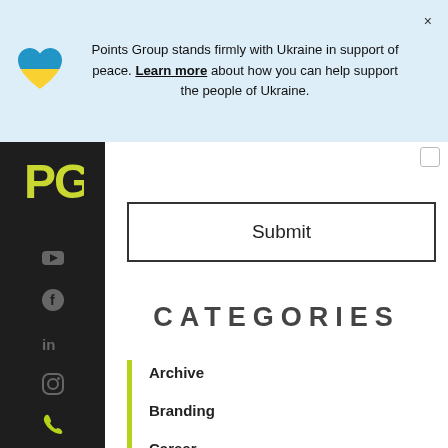Points Group stands firmly with Ukraine in support of peace. Learn more about how you can help support the people of Ukraine.
[Figure (illustration): Ukraine flag heart icon - blue top half, yellow bottom half]
[Figure (logo): PG logo in yellow-green on dark sidebar]
[Figure (screenshot): Social media icons on dark sidebar: YouTube, Facebook, LinkedIn, Instagram, phone]
Submit
CATEGORIES
Archive
Branding
Career